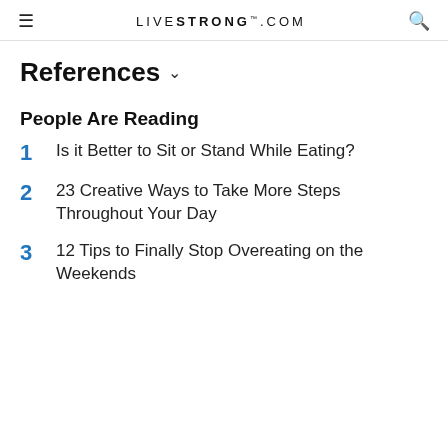LIVESTRONG.COM
References
People Are Reading
1  Is it Better to Sit or Stand While Eating?
2  23 Creative Ways to Take More Steps Throughout Your Day
3  12 Tips to Finally Stop Overeating on the Weekends